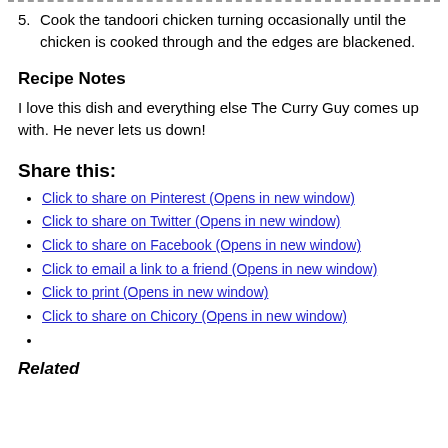5. Cook the tandoori chicken turning occasionally until the chicken is cooked through and the edges are blackened.
Recipe Notes
I love this dish and everything else The Curry Guy comes up with. He never lets us down!
Share this:
Click to share on Pinterest (Opens in new window)
Click to share on Twitter (Opens in new window)
Click to share on Facebook (Opens in new window)
Click to email a link to a friend (Opens in new window)
Click to print (Opens in new window)
Click to share on Chicory (Opens in new window)
Related